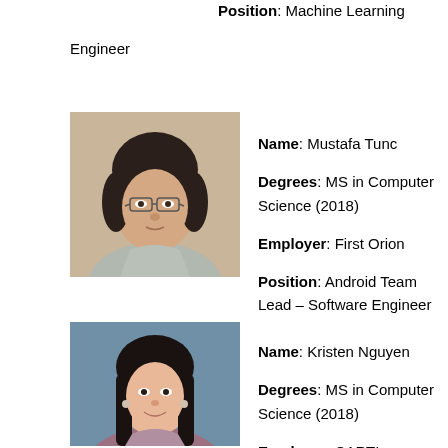Position: Machine Learning Engineer
[Figure (photo): Headshot photo of Mustafa Tunc, a young man with glasses and dark hair, wearing a light grey sweater, against a beige background.]
Name: Mustafa Tunc
Degrees: MS in Computer Science (2018)
Employer: First Orion
Position: Android Team Lead – Software Engineer
[Figure (photo): Headshot photo of Kristen Nguyen, a young woman with long dark hair, smiling, wearing a light purple/mauve top, against a grey background.]
Name: Kristen Nguyen
Degrees: MS in Computer Science (2018)
Employer: CARTI